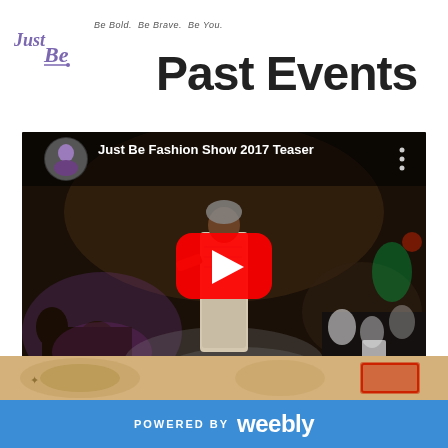Be Bold.  Be Brave.  Be You.
Past Events
[Figure (screenshot): YouTube video thumbnail for 'Just Be Fashion Show 2017 Teaser' showing a fashion show scene with a model on a runway, crowd in background, a YouTube play button overlay in the center, and the video title with channel avatar in the top-left corner.]
[Figure (photo): Partial bottom strip showing a tan/beige background with decorative elements — appears to be a flyer or banner partially visible.]
POWERED BY weebly